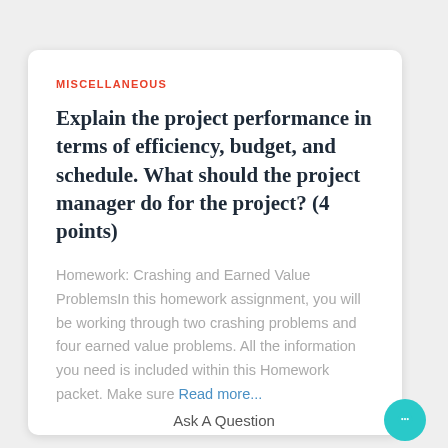MISCELLANEOUS
Explain the project performance in terms of efficiency, budget, and schedule. What should the project manager do for the project? (4 points)
Homework: Crashing and Earned Value ProblemsIn this homework assignment, you will be working through two crashing problems and four earned value problems. All the information you need is included within this Homework packet. Make sure Read more...
Ask A Question